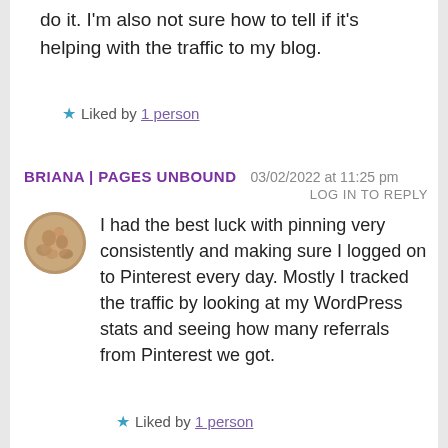do it. I'm also not sure how to tell if it's helping with the traffic to my blog.
★ Liked by 1 person
BRIANA | PAGES UNBOUND   03/02/2022 at 11:25 pm
LOG IN TO REPLY
[Figure (photo): Circular avatar photo of user Briana, showing a textured brownish image.]
I had the best luck with pinning very consistently and making sure I logged on to Pinterest every day. Mostly I tracked the traffic by looking at my WordPress stats and seeing how many referrals from Pinterest we got.
★ Liked by 1 person